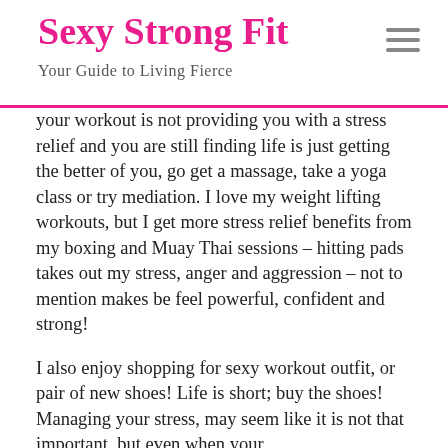Sexy Strong Fit – Your Guide to Living Fierce
your workout is not providing you with a stress relief and you are still finding life is just getting the better of you, go get a massage, take a yoga class or try mediation. I love my weight lifting workouts, but I get more stress relief benefits from my boxing and Muay Thai sessions – hitting pads takes out my stress, anger and aggression – not to mention makes be feel powerful, confident and strong!
I also enjoy shopping for sexy workout outfit, or pair of new shoes! Life is short; buy the shoes! Managing your stress, may seem like it is not that important, but even when your